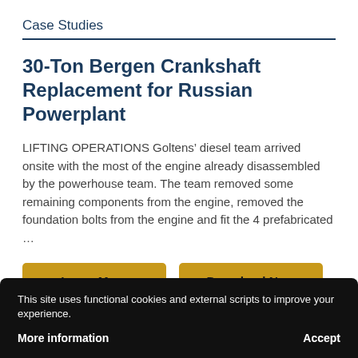Case Studies
30-Ton Bergen Crankshaft Replacement for Russian Powerplant
LIFTING OPERATIONS Goltens’ diesel team arrived onsite with the most of the engine already disassembled by the powerhouse team. The team removed some remaining components from the engine, removed the foundation bolts from the engine and fit the 4 prefabricated …
Learn More
Download Now
This site uses functional cookies and external scripts to improve your experience.
More information
Accept